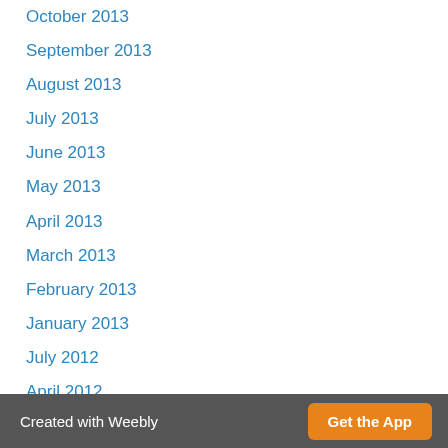October 2013
September 2013
August 2013
July 2013
June 2013
May 2013
April 2013
March 2013
February 2013
January 2013
July 2012
April 2012
RSS Feed
Version: Mobile | Web
Created with Weebly  Get the App